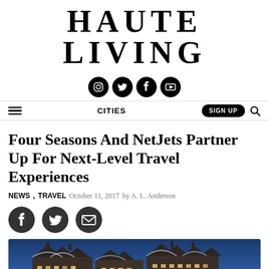Haute Living
[Figure (logo): Haute Living logo in large serif uppercase letters]
[Figure (infographic): Social media icons: Instagram, Twitter, Facebook, YouTube — dark circles]
CITIES | SIGN UP
Four Seasons And NetJets Partner Up For Next-Level Travel Experiences
NEWS, TRAVEL   October 11, 2017  by A. L. Anderson
[Figure (infographic): Social share icons: Facebook, Twitter, Email — dark circles]
[Figure (photo): Exterior photo of a luxury mountain resort at dusk/night with snow-dusted rooftops and warm lit windows against a blue sky]